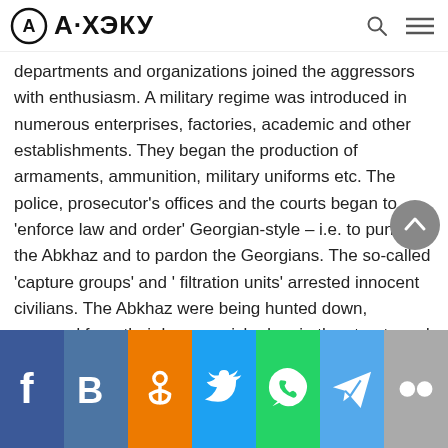А·ХЭКУ (logo/header navigation)
departments and organizations joined the aggressors with enthusiasm. A military regime was introduced in numerous enterprises, factories, academic and other establishments. They began the production of armaments, ammunition, military uniforms etc. The police, prosecutor's offices and the courts began to 'enforce law and order' Georgian-style – i.e. to punish the Abkhaz and to pardon the Georgians. The so-called 'capture groups' and ' filtration units' arrested innocent civilians. The Abkhaz were being hunted down, removed from their homes, picked up in the streets and taken to different 'headquarters', where they would be beaten up.
[Figure (infographic): Social media sharing bar with icons for Facebook, VKontakte, Odnoklassniki, Twitter, WhatsApp, Telegram, and Flickr]